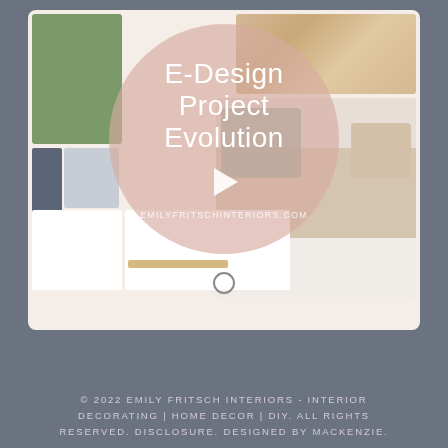[Figure (illustration): Instagram post card showing an interior design mood board collage with bedroom elements (greenery photo, wood texture, teal and beige pillows, white furniture, woven basket), overlaid with a pink semi-transparent circle containing the text 'E-Design Project Evolution' and a play button, plus the URL EMILYFRITSCHINTERIORS.COM, with a circle dot indicator at the bottom of the card.]
Follow on Instagram
© 2022 EMILY FRITSCH INTERIORS - INTERIOR DECORATING | HOME DECOR | DIY. ALL RIGHTS RESERVED. DISCLOSURE. DESIGNED BY MACKENZIE.